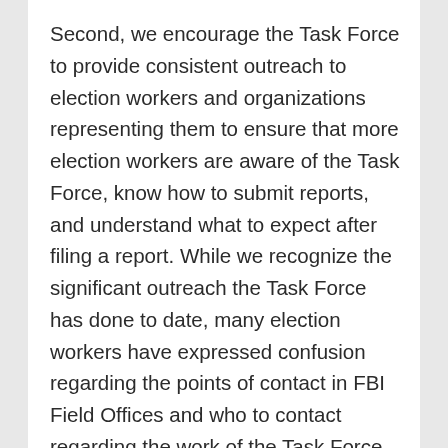Second, we encourage the Task Force to provide consistent outreach to election workers and organizations representing them to ensure that more election workers are aware of the Task Force, know how to submit reports, and understand what to expect after filing a report. While we recognize the significant outreach the Task Force has done to date, many election workers have expressed confusion regarding the points of contact in FBI Field Offices and who to contact regarding the work of the Task Force. In fact, a recent survey suggests that a majority of election workers are unfamiliar with the Task Force's work. We recommend that the Task Force create a database of these points of contact that is accessible to election workers.